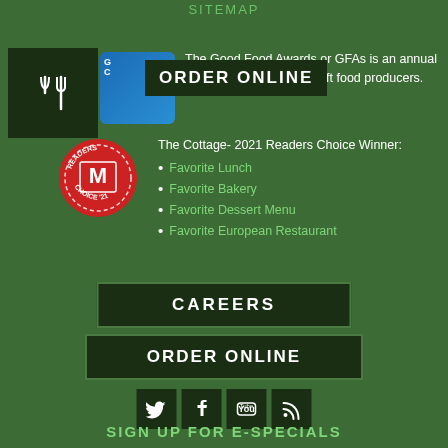SITEMAP
[Figure (logo): Fork and knife icon in dark green box with ORDER ONLINE banner overlay]
The Good Food Awards or GFAs is an annual outstanding American craft food producers.
[Figure (logo): Readers Choice badge - red circular badge with M logo]
The Cottage- 2021 Readers Choice Winner:
Favorite Lunch
Favorite Bakery
Favorite Dessert Menu
Favorite European Restaurant
CAREERS
ORDER ONLINE
[Figure (infographic): Social media icons row: Twitter, Facebook, YouTube, RSS]
SIGN UP FOR E-SPECIALS